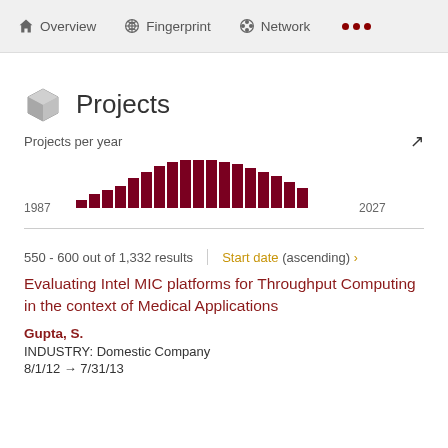Overview  Fingerprint  Network  ...
Projects
[Figure (bar-chart): Projects per year]
550 - 600 out of 1,332 results
Start date (ascending) >
Evaluating Intel MIC platforms for Throughput Computing in the context of Medical Applications
Gupta, S.
INDUSTRY: Domestic Company
8/1/12 → 7/31/13